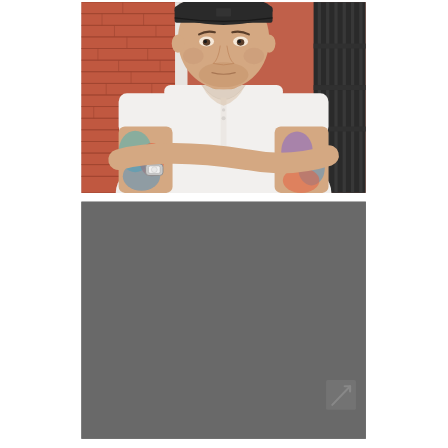[Figure (photo): Portrait photo of a man wearing a black cap and white short-sleeve polo shirt with arms crossed, showing colorful tattoos on both forearms and a watch on his left wrist. Background shows a brick wall and dark iron gate. The man has a beard and is looking directly at the camera.]
[Figure (photo): A predominantly gray/dark rectangle, appearing to be a second image that is largely obscured or a background panel. In the lower right corner there is a small diagonal arrow icon overlay suggesting a link or navigation element.]